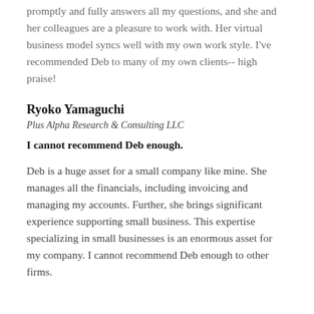promptly and fully answers all my questions, and she and her colleagues are a pleasure to work with. Her virtual business model syncs well with my own work style. I've recommended Deb to many of my own clients-- high praise!
Ryoko Yamaguchi
Plus Alpha Research & Consulting LLC
I cannot recommend Deb enough.
Deb is a huge asset for a small company like mine. She manages all the financials, including invoicing and managing my accounts. Further, she brings significant experience supporting small business. This expertise specializing in small businesses is an enormous asset for my company. I cannot recommend Deb enough to other firms.